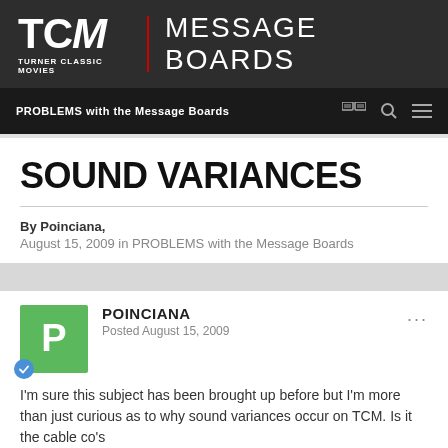TCM | MESSAGE BOARDS
PROBLEMS with the Message Boards
SOUND VARIANCES
By Poinciana,
August 15, 2009 in PROBLEMS with the Message Boards
POINCIANA
Posted August 15, 2009
I'm sure this subject has been brought up before but I'm more than just curious as to why sound variances occur on TCM. Is it the cable co's